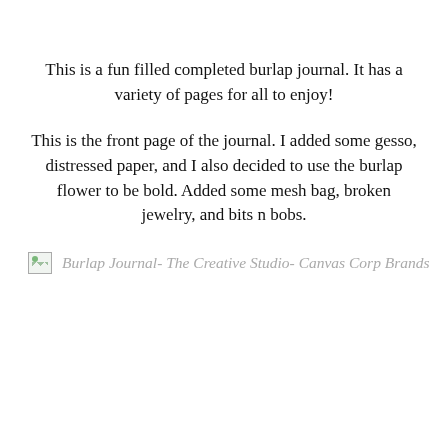This is a fun filled completed burlap journal. It has a variety of pages for all to enjoy!
This is the front page of the journal. I added some gesso, distressed paper, and I also decided to use the burlap flower to be bold. Added some mesh bag, broken jewelry, and bits n bobs.
[Figure (photo): Broken/missing image placeholder with alt text: Burlap Journal- The Creative Studio- Canvas Corp Brands]